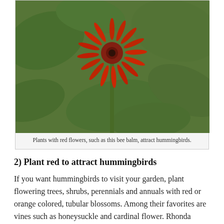[Figure (photo): A red bee balm flower with spiky petals surrounded by large green leaves, photographed in a garden setting.]
Plants with red flowers, such as this bee balm, attract hummingbirds.
2) Plant red to attract hummingbirds
If you want hummingbirds to visit your garden, plant flowering trees, shrubs, perennials and annuals with red or orange colored, tubular blossoms. Among their favorites are vines such as honeysuckle and cardinal flower. Rhonda Fleming Hayes, the Northern Gardener Pollinators columnist, recently recommended cypress vine, hyacinth bean vine and scarlet runner bean vine, among others for